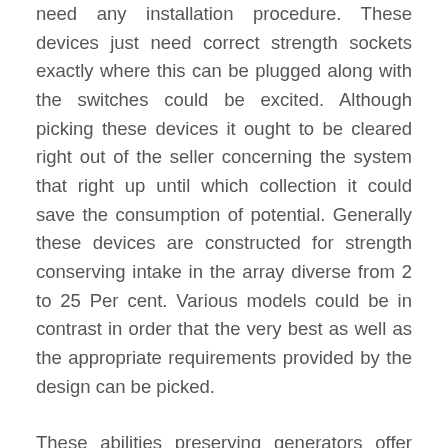need any installation procedure. These devices just need correct strength sockets exactly where this can be plugged along with the switches could be excited. Although picking these devices it ought to be cleared right out of the seller concerning the system that right up until which collection it could save the consumption of potential. Generally these devices are constructed for strength conserving intake in the array diverse from 2 to 25 Per cent. Various models could be in contrast in order that the very best as well as the appropriate requirements provided by the design can be picked.
These abilities preserving generators offer you with an extra gain that is that these particular assist in manipulating the surges or maybe the power spikes. These kinds of products in fact operate flawlessly within the steady electrical energy offer setting. These units supply using the feature of basic safety concern of creating or property. This function of basic